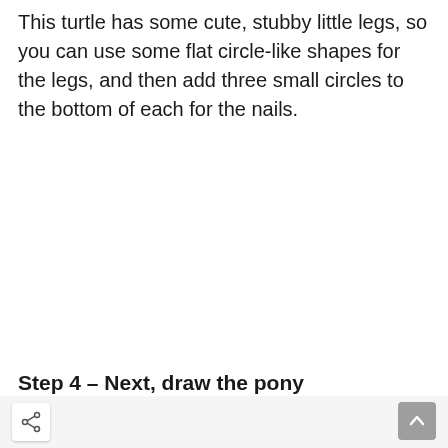This turtle has some cute, stubby little legs, so you can use some flat circle-like shapes for the legs, and then add three small circles to the bottom of each for the nails.
Step 4 – Next, draw the pony